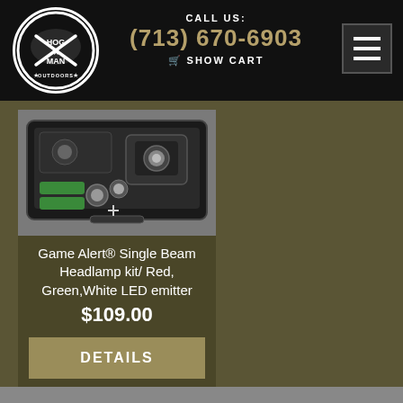[Figure (logo): Hog Man Outdoors circular logo with white outline, featuring a world map, crossed rifles, and text HOG MAN OUTDOORS with stars]
CALL US:
(713) 670-6903
SHOW CART
[Figure (other): Menu/hamburger icon button with three horizontal white lines on dark background]
[Figure (photo): Product photo of Game Alert headlamp kit in a black carrying case with green accessories]
Game Alert® Single Beam Headlamp kit/ Red, Green,White LED emitter
$109.00
DETAILS